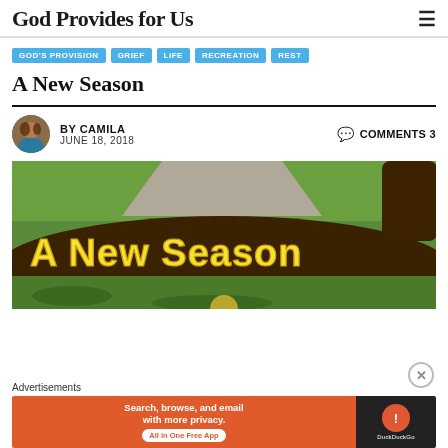God Provides for Us
GOD'S PROVISION
GRIEF
LIFE
RECREATION
REST
A New Season
BY CAMILA   JUNE 18, 2018   COMMENTS 3
[Figure (photo): Outdoor photo of a lawn and garden area with large yellow text 'A New Season' overlaid, showing green grass, a pathway, and a tree trunk.]
Advertisements
[Figure (screenshot): DuckDuckGo advertisement banner: left side orange with text 'Search, browse, and email with more privacy. All in One Free App', right side dark with DuckDuckGo logo and name.]